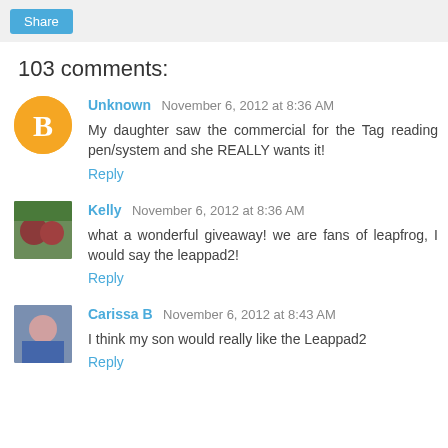Share
103 comments:
Unknown November 6, 2012 at 8:36 AM
My daughter saw the commercial for the Tag reading pen/system and she REALLY wants it!
Reply
Kelly November 6, 2012 at 8:36 AM
what a wonderful giveaway! we are fans of leapfrog, I would say the leappad2!
Reply
Carissa B November 6, 2012 at 8:43 AM
I think my son would really like the Leappad2
Reply